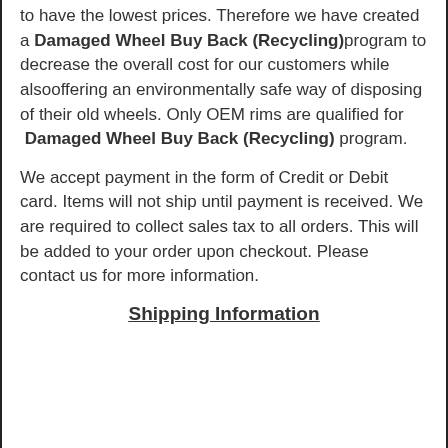to have the lowest prices. Therefore we have created a Damaged Wheel Buy Back (Recycling) program to decrease the overall cost for our customers while alsooffering an environmentally safe way of disposing of their old wheels. Only OEM rims are qualified for Damaged Wheel Buy Back (Recycling) program.
We accept payment in the form of Credit or Debit card. Items will not ship until payment is received. We are required to collect sales tax to all orders. This will be added to your order upon checkout. Please contact us for more information.
Shipping Information